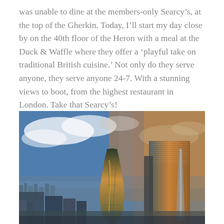was unable to dine at the members-only Searcy's, at the top of the Gherkin. Today, I'll start my day close by on the 40th floor of the Heron with a meal at the Duck & Waffle where they offer a 'playful take on traditional British cuisine.' Not only do they serve anyone, they serve anyone 24-7. With a stunning views to boot, from the highest restaurant in London. Take that Searcy's!
[Figure (photo): Aerial photograph of the London skyline at golden hour/sunset showing the Gherkin (30 St Mary Axe) prominently in the center-left, and a large glass skyscraper on the right. City buildings spread across the background beneath a dramatic sky with clouds.]